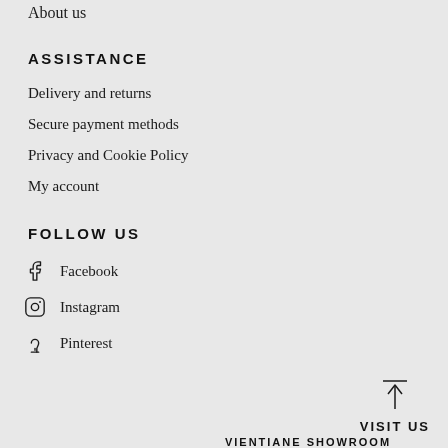About us
ASSISTANCE
Delivery and returns
Secure payment methods
Privacy and Cookie Policy
My account
FOLLOW US
Facebook
Instagram
Pinterest
VISIT US
VIENTIANE SHOWROOM